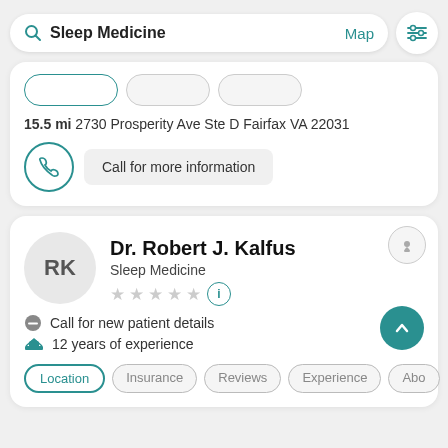[Figure (screenshot): Search bar with 'Sleep Medicine' query, Map link, and filter icon]
15.5 mi 2730 Prosperity Ave Ste D Fairfax VA 22031
Call for more information
Dr. Robert J. Kalfus
Sleep Medicine
Call for new patient details
12 years of experience
Location  Insurance  Reviews  Experience  Abo